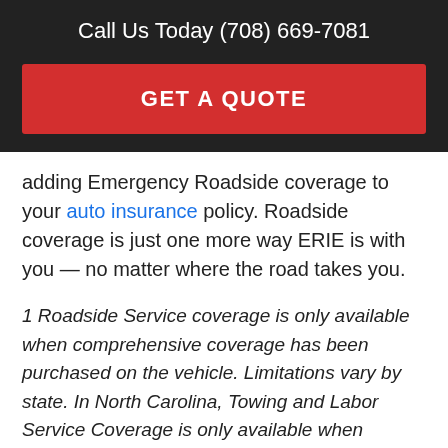Call Us Today (708) 669-7081
GET A QUOTE
adding Emergency Roadside coverage to your auto insurance policy. Roadside coverage is just one more way ERIE is with you — no matter where the road takes you.
1 Roadside Service coverage is only available when comprehensive coverage has been purchased on the vehicle. Limitations vary by state. In North Carolina, Towing and Labor Service Coverage is only available when comprehensive coverage has been purchased on the vehicle. Delivery of gas is included at no additional